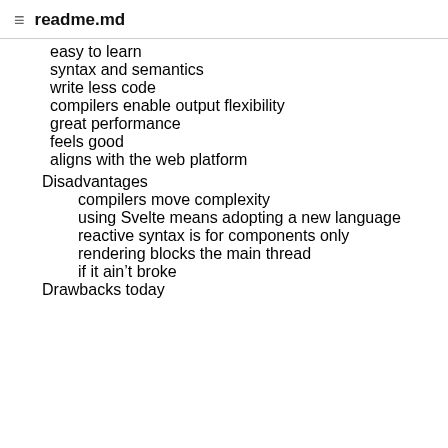readme.md
easy to learn
syntax and semantics
write less code
compilers enable output flexibility
great performance
feels good
aligns with the web platform
Disadvantages
compilers move complexity
using Svelte means adopting a new language
reactive syntax is for components only
rendering blocks the main thread
if it ain’t broke
Drawbacks today